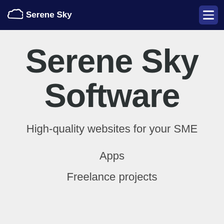Serene Sky
Serene Sky Software
High-quality websites for your SME
Apps
Freelance projects